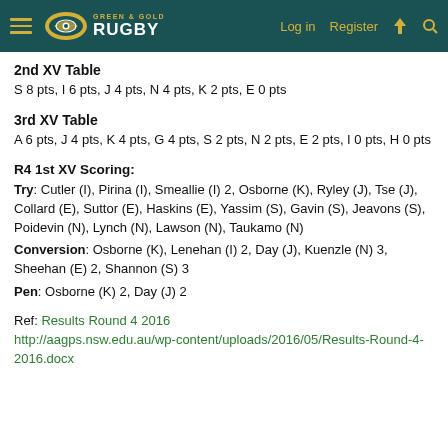Green & Gold Rugby — Log in | Register
2nd XV Table
S 8 pts, I 6 pts, J 4 pts, N 4 pts, K 2 pts, E 0 pts
3rd XV Table
A 6 pts, J 4 pts, K 4 pts, G 4 pts, S 2 pts, N 2 pts, E 2 pts, I 0 pts, H 0 pts
R4 1st XV Scoring:
Try: Cutler (I), Pirina (I), Smeallie (I) 2, Osborne (K), Ryley (J), Tse (J), Collard (E), Suttor (E), Haskins (E), Yassim (S), Gavin (S), Jeavons (S), Poidevin (N), Lynch (N), Lawson (N), Taukamo (N)
Conversion: Osborne (K), Lenehan (I) 2, Day (J), Kuenzle (N) 3, Sheehan (E) 2, Shannon (S) 3
Pen: Osborne (K) 2, Day (J) 2
Ref: Results Round 4 2016
http://aagps.nsw.edu.au/wp-content/uploads/2016/05/Results-Round-4-2016.docx